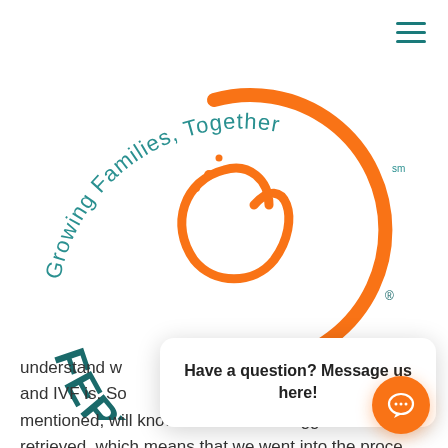[Figure (logo): OC Fertility logo with orange circular icon, teal 'FERTILITY' text arranged in an arc, and curved text 'Growing Families, Together' arching over the top]
understand w and IVF is. So mentioned, will know the number of eggs that we retrieved, which means that we went into the proce and we got the exam.
[Figure (screenshot): Chat popup overlay with text 'Have a question? Message us here!' and an orange chat bubble button in the bottom right corner]